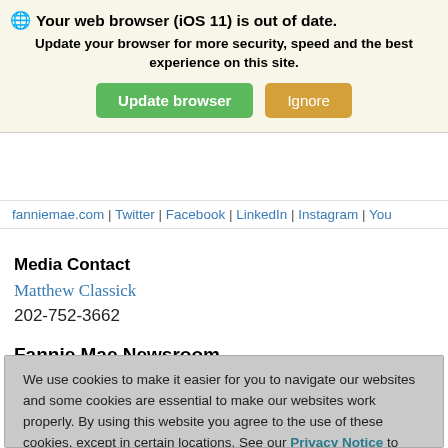million of people and drive responsible innovations by linked rate mortgage and drive responsible innovations to make homebuying and renting easier, fairer, and more accessible. To learn more, visit
[Figure (screenshot): Browser update notification banner with globe icon, bold title 'Your web browser (iOS 11) is out of date.', subtext 'Update your browser for more security, speed and the best experience on this site.', and two buttons: green 'Update browser' and orange 'Ignore']
fanniemae.com | Twitter | Facebook | LinkedIn | Instagram | You
Media Contact
Matthew Classick
202-752-3662
Fannie Mae Newsroom
We use cookies to make it easier for you to navigate our websites and some cookies are essential to make our websites work properly. By using this website you agree to the use of these cookies, except in certain locations. See our Privacy Notice to learn more about how we use cookies and how we may collect and use visitor data.